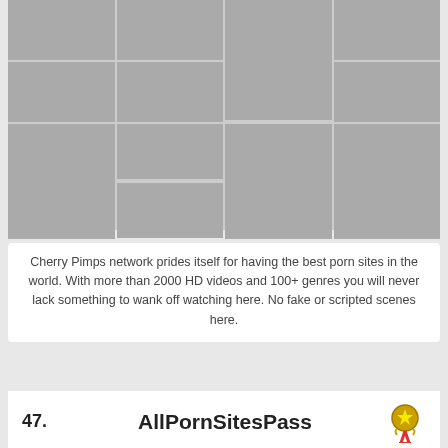[Figure (photo): Grid of adult content thumbnail images arranged in a mosaic layout with multiple rows and columns]
Cherry Pimps network prides itself for having the best porn sites in the world. With more than 2000 HD videos and 100+ genres you will never lack something to wank off watching here. No fake or scripted scenes here.
47.
AllPornSitesPass
[Figure (screenshot): AllPornsites PASS banner/logo on dark background with orange branding and flags]